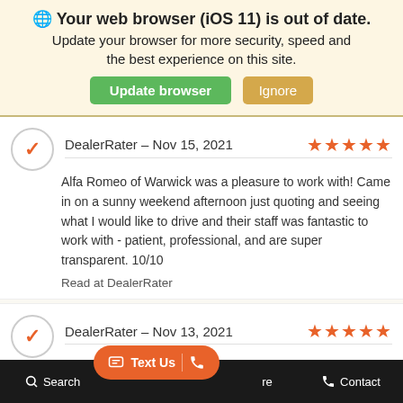🌐 Your web browser (iOS 11) is out of date. Update your browser for more security, speed and the best experience on this site.
Update browser | Ignore
DealerRater - Nov 15, 2021 ★★★★★
Alfa Romeo of Warwick was a pleasure to work with! Came in on a sunny weekend afternoon just quoting and seeing what I would like to drive and their staff was fantastic to work with - patient, professional, and are super transparent. 10/10
Read at DealerRater
DealerRater - Nov 13, 2021 ★★★★★
Professional, Exceptional Customer Service, Prompt. They made my experience easy. Would definitely recommend to anyone.
Search | Text Us | Contact